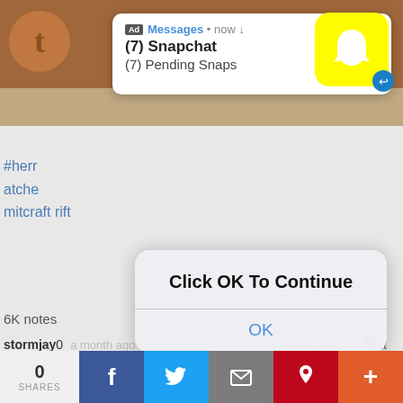[Figure (screenshot): Screenshot of a mobile device showing a Tumblr page with a Snapchat ad notification popup at the top, a browser dialog saying 'Click OK To Continue' with an OK button, and a comic strip at the bottom showing an ant character with speech bubble text. A social share bar is at the very bottom.]
Ad Messages • now ↓
(7) Snapchat
(7) Pending Snaps
#herr
atche
mitcraft rift
6K notes
stormjay0   a month ago
Text
Click OK To Continue
OK
You guys are siblings, right? Which parent had the tall genes and which was short?
0
SHARES